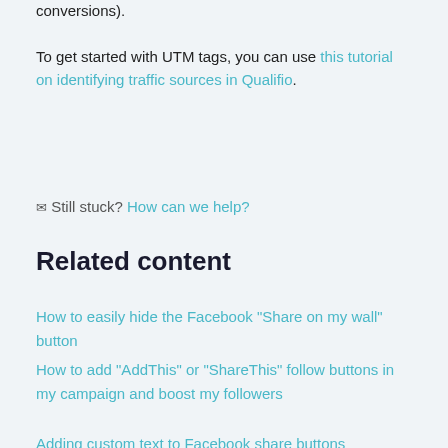conversions).
To get started with UTM tags, you can use this tutorial on identifying traffic sources in Qualifio.
✉ Still stuck? How can we help?
Related content
How to easily hide the Facebook "Share on my wall" button
How to add "AddThis" or "ShareThis" follow buttons in my campaign and boost my followers
Adding custom text to Facebook share buttons